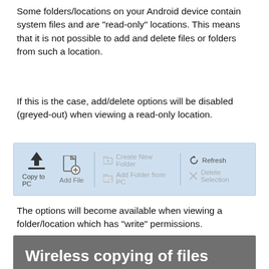Some folders/locations on your Android device contain system files and are "read-only" locations. This means that it is not possible to add and delete files or folders from such a location.
If this is the case, add/delete options will be disabled (greyed-out) when viewing a read-only location.
[Figure (screenshot): Toolbar showing: Copy to PC (download icon), Add File (file+plus icon), Create New Folder (folder+plus icon, greyed), Add Folder from PC (folder+circle icon, greyed), Refresh (refresh icon), Delete Selection (X icon, greyed). The greyed items indicate disabled options in a read-only location.]
The options will become available when viewing a folder/location which has "write" permissions.
Wireless copying of files from Android to PC
Backing up your Android files to your computer is...